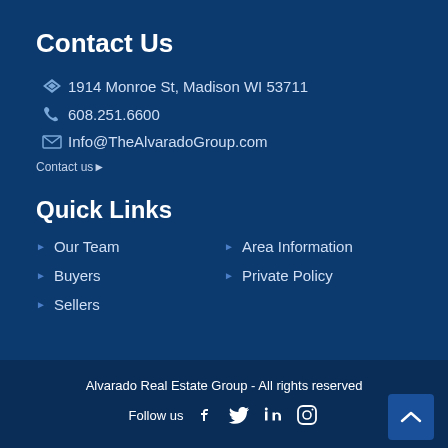Contact Us
1914 Monroe St, Madison WI 53711
608.251.6600
Info@TheAlvaradoGroup.com
Contact us ▶
Quick Links
▶ Our Team
▶ Area Information
▶ Buyers
▶ Private Policy
▶ Sellers
Alvarado Real Estate Group - All rights reserved
Follow us